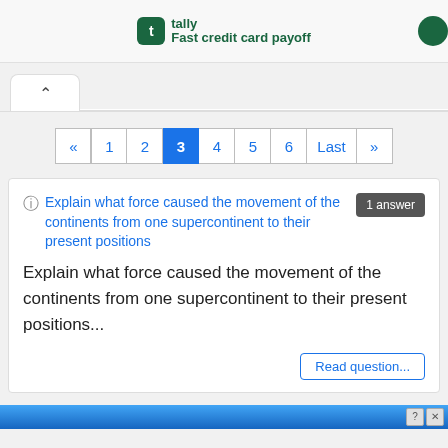[Figure (screenshot): Tally app advertisement banner showing green Tally logo icon and text 'Fast credit card payoff' with a circular avatar on the right]
[Figure (screenshot): Browser tab bar with an up-arrow collapse tab on the left and a horizontal divider line]
[Figure (other): Pagination control showing: « 1 2 [3] 4 5 6 Last »]
Explain what force caused the movement of the continents from one supercontinent to their present positions
1 answer
Explain what force caused the movement of the continents from one supercontinent to their present positions...
Read question...